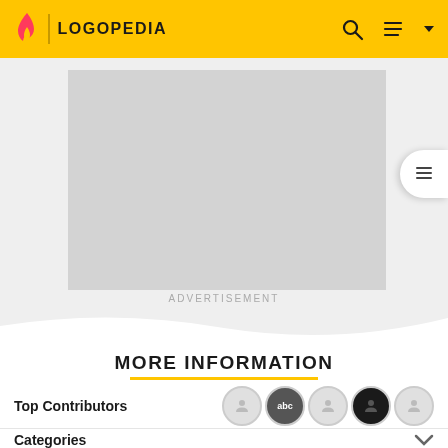LOGOPEDIA
[Figure (screenshot): Advertisement placeholder — grey rectangle]
ADVERTISEMENT
MORE INFORMATION
Top Contributors
Categories
Community content is available under CC-BY-SA unless